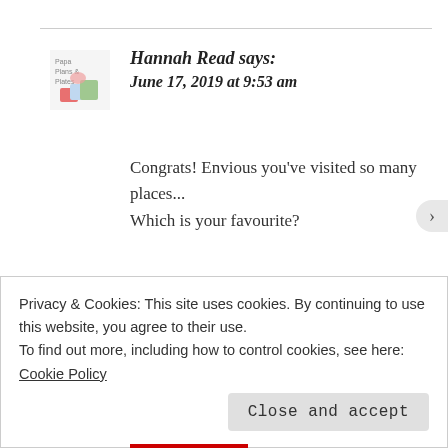Hannah Read says: June 17, 2019 at 9:53 am
Congrats! Envious you’ve visited so many places... Which is your favourite?
★ Liked by 3 people
Reply
Privacy & Cookies: This site uses cookies. By continuing to use this website, you agree to their use.
To find out more, including how to control cookies, see here: Cookie Policy
Close and accept